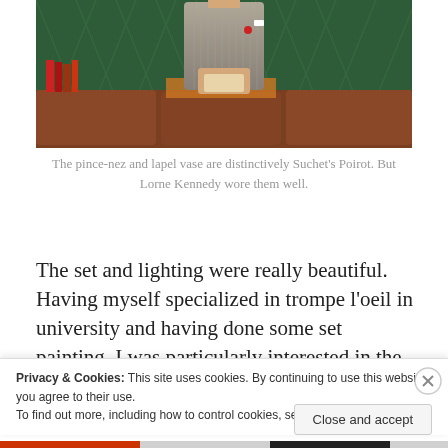[Figure (photo): A man in a grey pinstripe suit with a bow tie and red lapel flower, holding an envelope, standing in front of a tufted leather sofa with books visible in the background on a theatre stage set.]
The pince-nez and lapel vase are distinctively Suchet's Poirot. But Lorne Kennedy wore them well.
The set and lighting were really beautiful. Having myself specialized in trompe l’oeil in university and having done some set painting, I was particularly interested in the
Privacy & Cookies: This site uses cookies. By continuing to use this website, you agree to their use.
To find out more, including how to control cookies, see here: Cookie Policy
Close and accept